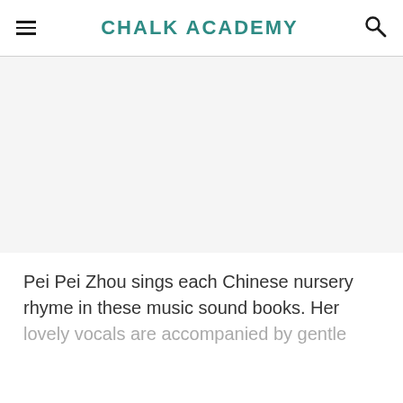CHALK ACADEMY
[Figure (photo): White/blank image area placeholder below the header navigation]
Pei Pei Zhou sings each Chinese nursery rhyme in these music sound books. Her lovely vocals are accompanied by gentle